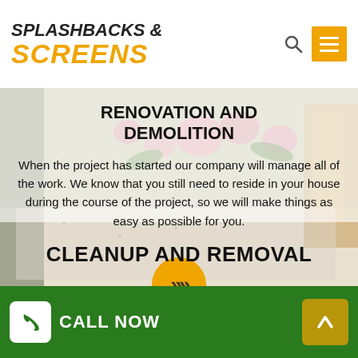SPLASHBACKS & SCREENS
RENOVATION AND DEMOLITION
When the project has started our company will manage all of the work. We know that you still need to reside in your house during the course of the project, so we will make things as easy as possible for you.
[Figure (other): Orange circular button with double chevron/arrow pointing right]
CLEANUP AND REMOVAL
CALL NOW